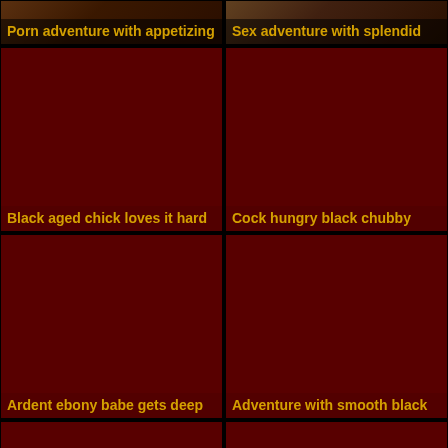[Figure (photo): Top-left photo thumbnail with text label overlay]
Porn adventure with appetizing
[Figure (photo): Top-right photo thumbnail with text label overlay]
Sex adventure with splendid
[Figure (photo): Dark red placeholder thumbnail]
Black aged chick loves it hard
[Figure (photo): Dark red placeholder thumbnail]
Cock hungry black chubby
[Figure (photo): Dark red placeholder thumbnail]
Ardent ebony babe gets deep
[Figure (photo): Dark red placeholder thumbnail]
Adventure with smooth black
[Figure (photo): Dark red placeholder thumbnail bottom-left]
[Figure (photo): Dark red placeholder thumbnail bottom-right]